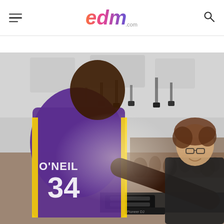edm.com — navigation header with hamburger menu and search icon
[Figure (photo): A large man wearing a purple Lakers jersey with 'O'NEIL 34' on the back leans forward toward a DJ at the decks (wearing a black t-shirt) in what appears to be an indoor festival venue with lights and a crowd in the background.]